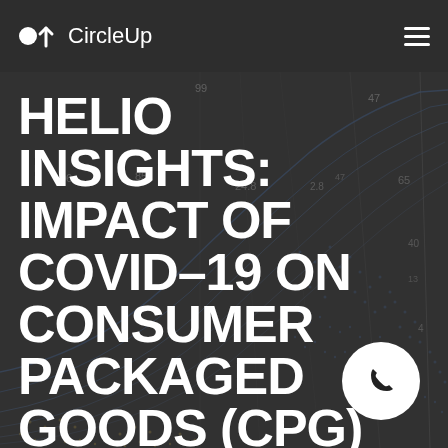CircleUp
[Figure (continuous-plot): Background data visualization showing curved lines and dots resembling a radar/network chart with numerical labels such as 99, 47, 96, 85, 24.8, 2.8, 65, 40, 4 overlaid on a dark background]
HELIO INSIGHTS: IMPACT OF COVID-19 ON CONSUMER PACKAGED GOODS (CPG)